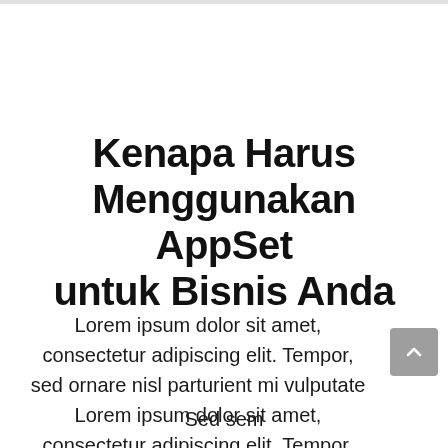Kenapa Harus Menggunakan AppSet untuk Bisnis Anda
Lorem ipsum dolor sit amet, consectetur adipiscing elit. Tempor, sed ornare nisl parturient mi vulputate Lorem ipsum dolor sit amet, consectetur adipiscing elit. Tempor, sed ornare nisl parturient mi vulputate malesuada. Sed sem...